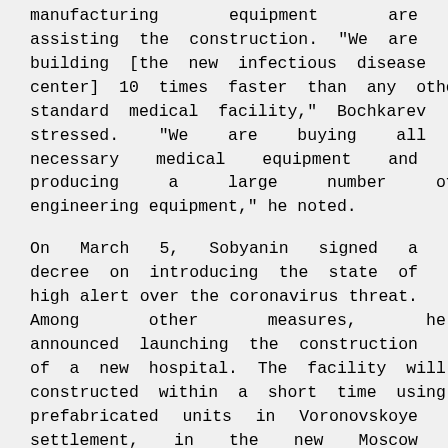manufacturing equipment are assisting the construction. "We are building [the new infectious disease center] 10 times faster than any other standard medical facility," Bochkarev stressed. "We are buying all necessary medical equipment and producing a large number of engineering equipment," he noted.
On March 5, Sobyanin signed a decree on introducing the state of high alert over the coronavirus threat. Among other measures, he announced launching the construction of a new hospital. The facility will be constructed within a short time using prefabricated units in Voronovskoye settlement, in the new Moscow region.
The coronavirus outbreak was recorded in central China in late December 2019. More than 160 countries have been hit by this infection, which can also be...